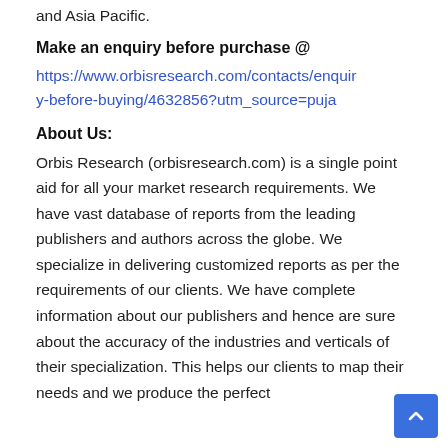and Asia Pacific.
Make an enquiry before purchase @
https://www.orbisresearch.com/contacts/enquiry-before-buying/4632856?utm_source=puja
About Us:
Orbis Research (orbisresearch.com) is a single point aid for all your market research requirements. We have vast database of reports from the leading publishers and authors across the globe. We specialize in delivering customized reports as per the requirements of our clients. We have complete information about our publishers and hence are sure about the accuracy of the industries and verticals of their specialization. This helps our clients to map their needs and we produce the perfect